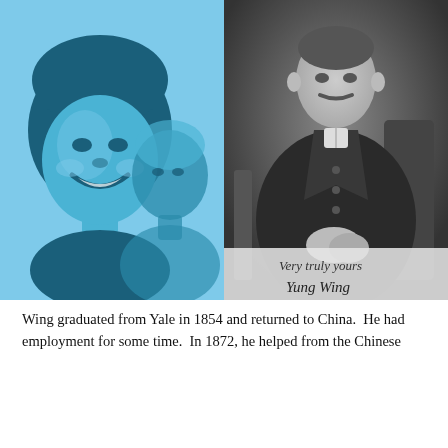[Figure (illustration): Left half: blue pop-art style illustration of two faces (a smiling woman and a man) on a light blue background, with 'EST. 2007' text at top and vertical watermark text 'BROUGHT TO YOU BY LIGHTSKINNED GIRL TYPEPAD.COM'. Right half: black and white historical photograph of a man in formal attire seated in a chair, with handwritten signature at bottom reading 'Very truly yours, Yung Wing'.]
Wing graduated from Yale in 1854 and returned to China.  He had employment for some time.  In 1872, he helped from the Chinese